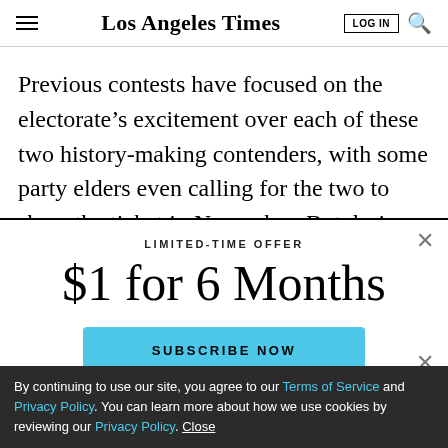Los Angeles Times
Previous contests have focused on the electorate’s excitement over each of these two history-making contenders, with some party elders even calling for the two to share the ticket in November. But during the
LIMITED-TIME OFFER
$1 for 6 Months
SUBSCRIBE NOW
By continuing to use our site, you agree to our Terms of Service and Privacy Policy. You can learn more about how we use cookies by reviewing our Privacy Policy. Close